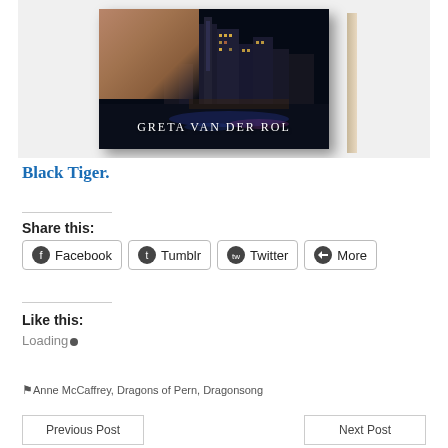[Figure (photo): Book cover of 'Black Tiger' by Greta van der Rol, showing a man's face close-up on the left and a night cityscape skyline with reflections on water on the right, with the author's name 'Greta van der Rol' displayed at the bottom in white serif text.]
Black Tiger.
Share this:
Facebook  Tumblr  Twitter  More
Like this:
Loading…
Anne McCaffrey, Dragons of Pern, Dragonsong
Previous Post
Next Post